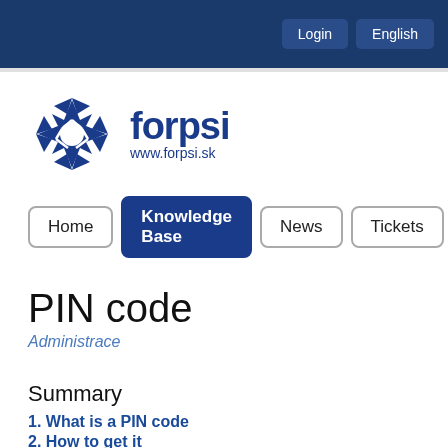Login  English
[Figure (logo): Forpsi logo: blue star/snowflake icon with text 'forpsi' and 'www.forpsi.sk']
Home  Knowledge Base  News  Tickets
PIN code
Administrace
Summary
1. What is a PIN code
2. How to get it